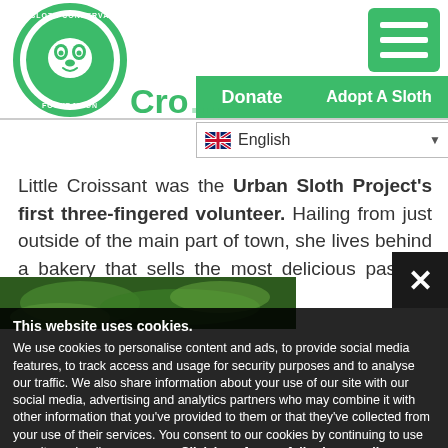[Figure (logo): The Sloth Conservation Foundation circular logo with sloth face and heart design in green and white]
[Figure (other): Green hamburger menu button with three white horizontal bars]
[Figure (other): Green Donate navigation button]
[Figure (other): Green Adopt A Sloth navigation button]
Cro
[Figure (other): Language selector showing UK flag and English with dropdown arrow]
Little Croissant was the Urban Sloth Project's first three-fingered volunteer. Hailing from just outside of the main part of town, she lives behind a bakery that sells the most delicious pastries from which she gets her name.
[Figure (photo): Partial photo of a sloth in green foliage at bottom of page]
This website uses cookies.
We use cookies to personalise content and ads, to provide social media features, to track access and usage for security purposes and to analyse our traffic. We also share information about your use of our site with our social media, advertising and analytics partners who may combine it with other information that you've provided to them or that they've collected from your use of their services. You consent to our cookies by continuing to use our site and online resources. Click here for our full privacy policy.